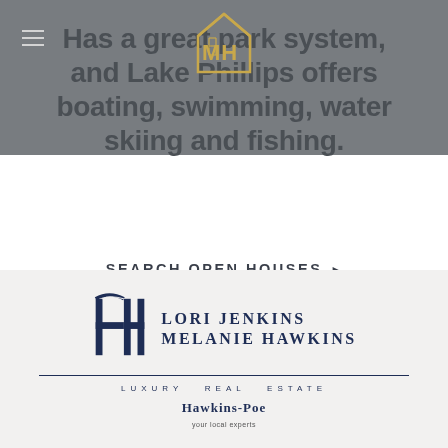[Figure (logo): MH house logo in gold outline style at top center of header]
Has a great park system, and Lake Phillips offers boating, swimming, water skiing and fishing.
SEARCH OPEN HOUSES ▶
[Figure (logo): Lori Jenkins Melanie Hawkins Luxury Real Estate logo with stylized IH monogram and Hawkins-Poe text below]